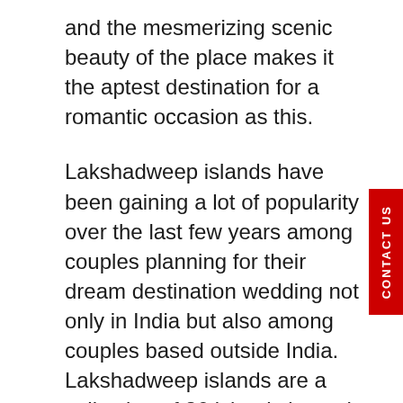and the mesmerizing scenic beauty of the place makes it the aptest destination for a romantic occasion as this.
Lakshadweep islands have been gaining a lot of popularity over the last few years among couples planning for their dream destination wedding not only in India but also among couples based outside India. Lakshadweep islands are a collection of 36 islands in total and it is the only collection of islands believed to have a coral reef. Each of the islands is blessed with its unique beauty and one can choose the one that matches its requirements and preferences. While some islands are closer to the sea, some take pride in the lush green vegetation of the place while some are not accessible to normal tourists for safety and